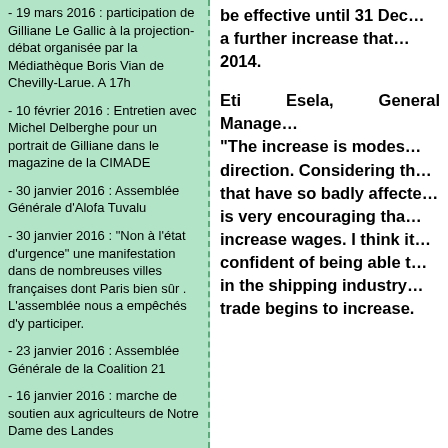- 19 mars 2016 : participation de Gilliane Le Gallic à la projection-débat organisée par la Médiathèque Boris Vian de Chevilly-Larue. A 17h
- 10 février 2016 : Entretien avec Michel Delberghe pour un portrait de Gilliane dans le magazine de la CIMADE
- 30 janvier 2016 : Assemblée Générale d'Alofa Tuvalu
- 30 janvier 2016 : "Non à l'état d'urgence" une manifestation dans de nombreuses villes françaises dont Paris bien sûr . L'assemblée nous a empêchés d'y participer.
- 23 janvier 2016 : Assemblée Générale de la Coalition 21
- 16 janvier 2016 : marche de soutien aux agriculteurs de Notre Dame des Landes
- D'Aout à fin décembre : préparation et clôture du dossier "biorap Tuvalu" avec le SPREP et Dani Ceccarrelli, scientifique, co-auteure déjà du TML Un projet annulé à la dernière minute par le Gouvernement.
be effective until 31 Dec… a further increase that… 2014.
Eti Esela, General Manage… "The increase is modes… direction. Considering th… that have so badly affecte… is very encouraging tha… increase wages. I think it… confident of being able t… in the shipping industry… trade begins to increase.